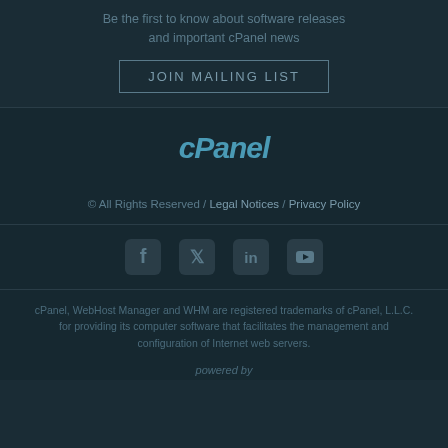Be the first to know about software releases and important cPanel news
JOIN MAILING LIST
[Figure (logo): cPanel logo in teal/blue italic font]
© All Rights Reserved / Legal Notices / Privacy Policy
[Figure (infographic): Social media icons: Facebook, Twitter, LinkedIn, YouTube]
cPanel, WebHost Manager and WHM are registered trademarks of cPanel, L.L.C. for providing its computer software that facilitates the management and configuration of Internet web servers.
powered by